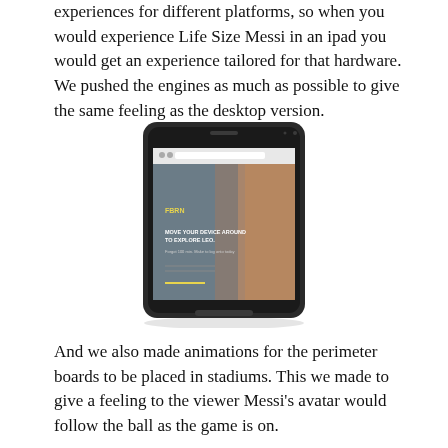experiences for different platforms, so when you would experience Life Size Messi in an ipad you would get an experience tailored for that hardware. We pushed the engines as much as possible to give the same feeling as the desktop version.
[Figure (photo): An iPad tablet displayed at an angle showing a website with a close-up of Lionel Messi's face and text reading 'MOVE YOUR DEVICE AROUND TO EXPLORE LEO.' on a grey background.]
And we also made animations for the perimeter boards to be placed in stadiums. This we made to give a feeling to the viewer Messi's avatar would follow the ball as the game is on.